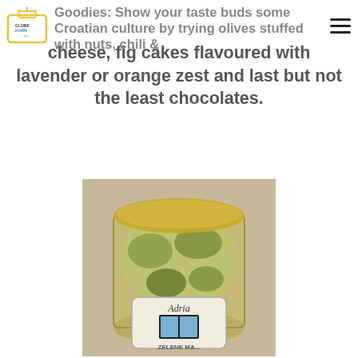Globe Jamin — Goodies: Show your taste buds some Croatian culture by trying olives stuffed with nuts, chili & cheese, fig cakes flavoured with lavender or orange zest and last but not the least chocolates.
Goodies: Show your taste buds some Croatian culture by trying olives stuffed with nuts, chili & cheese, fig cakes flavoured with lavender or orange zest and last but not the least chocolates.
[Figure (photo): A glass jar of Adria brand 'Zelene Masline' (green olives) filled with stuffed olives in brine, with the Adria label visible on the front.]